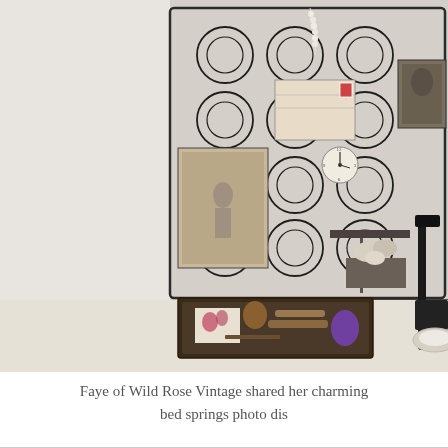[Figure (photo): A vintage vignette display showing a decorative wire/bed spring frame mounted on a wall with old photographs, postcards, pearl necklace, clock face, and stamps pinned to it. Below is a table with a lace cloth, a dark wooden tray containing vintage tools, a floral postcard, a small onion, and a purple pear-shaped item. An antique scale holds shells and organic items. A vintage sewing machine arm is visible at right.]
Faye of Wild Rose Vintage shared her charming bed springs photo dis